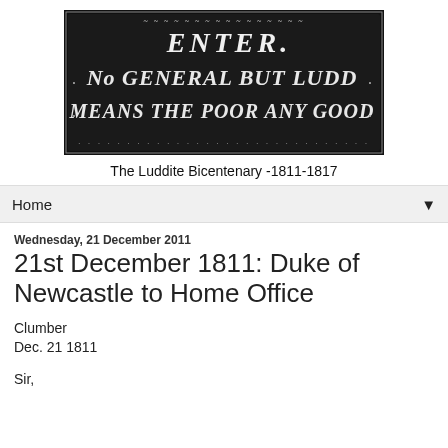[Figure (illustration): Black and white image of an old sign or banner with ornate border reading: ENTER. No GENERAL BUT LUDD MEANS THE POOR ANY GOOD]
The Luddite Bicentenary -1811-1817
Home
Wednesday, 21 December 2011
21st December 1811: Duke of Newcastle to Home Office
Clumber
Dec. 21 1811
Sir,